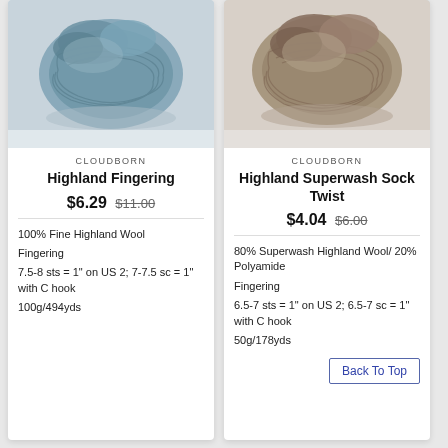[Figure (photo): Skein of blue-grey fingering weight yarn on light background]
CLOUDBORN
Highland Fingering
$6.29 $11.00
100% Fine Highland Wool
Fingering
7.5-8 sts = 1" on US 2; 7-7.5 sc = 1" with C hook
100g/494yds
[Figure (photo): Skein of taupe/brown fingering weight yarn on light background]
CLOUDBORN
Highland Superwash Sock Twist
$4.04 $6.00
80% Superwash Highland Wool/ 20% Polyamide
Fingering
6.5-7 sts = 1" on US 2; 6.5-7 sc = 1" with C hook
50g/178yds
Back To Top